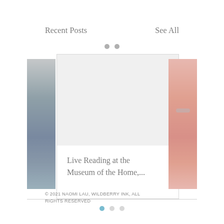Recent Posts
See All
[Figure (screenshot): Blog/website carousel section showing a centered card with title 'Live Reading at the Museum of the Home,...', flanked by partial images on left (blue-gray seascape) and right (pink background with pin). Navigation dots above and below the carousel.]
© 2021 NAOMI LAU, WILDBERRY INK, ALL RIGHTS RESERVED